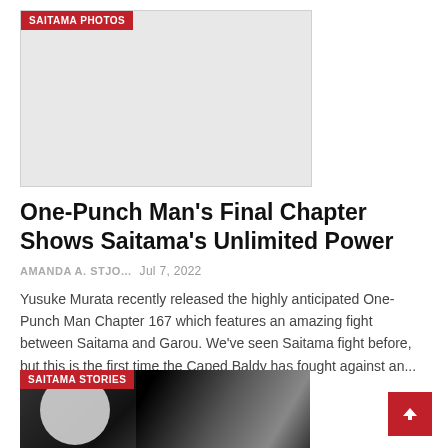[Figure (photo): Light gray placeholder image with SAITAMA PHOTOS red badge label at top left]
One-Punch Man's Final Chapter Shows Saitama's Unlimited Power
AMANDA A. STJO...   Jul 7, 2022
Yusuke Murata recently released the highly anticipated One-Punch Man Chapter 167 which features an amazing fight between Saitama and Garou. We've seen Saitama fight before, but this is the first time the Caped Baldy has fought against an...
[Figure (illustration): Black and white manga illustration showing Saitama (bald face, intense expression) with a dark armored figure, SAITAMA STORIES red badge at top left]